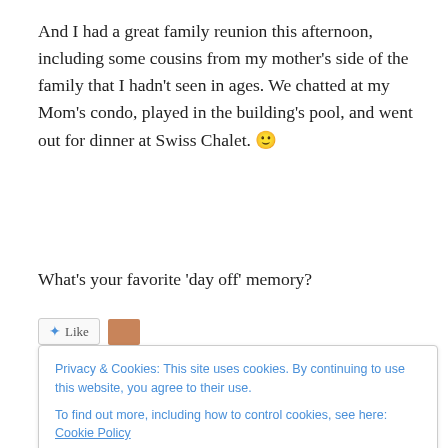And I had a great family reunion this afternoon, including some cousins from my mother’s side of the family that I hadn’t seen in ages. We chatted at my Mom’s condo, played in the building’s pool, and went out for dinner at Swiss Chalet. 🙂
What’s your favorite ‘day off’ memory?
Privacy & Cookies: This site uses cookies. By continuing to use this website, you agree to their use.
To find out more, including how to control cookies, see here: Cookie Policy
Close and accept